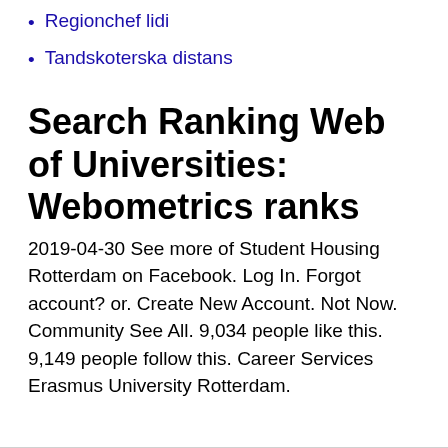Regionchef lidi
Tandskoterska distans
Search Ranking Web of Universities: Webometrics ranks
2019-04-30 See more of Student Housing Rotterdam on Facebook. Log In. Forgot account? or. Create New Account. Not Now. Community See All. 9,034 people like this. 9,149 people follow this. Career Services Erasmus University Rotterdam.